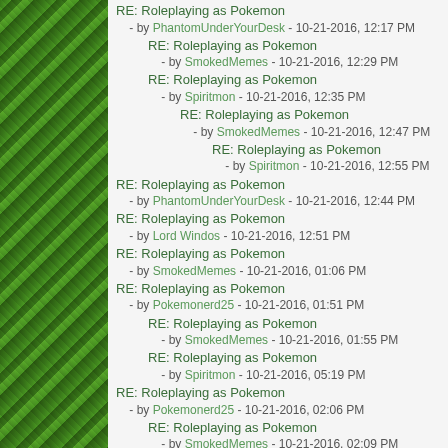RE: Roleplaying as Pokemon - by PhantomUnderYourDesk - 10-21-2016, 12:17 PM
RE: Roleplaying as Pokemon - by SmokedMemes - 10-21-2016, 12:29 PM
RE: Roleplaying as Pokemon - by Spiritmon - 10-21-2016, 12:35 PM
RE: Roleplaying as Pokemon - by SmokedMemes - 10-21-2016, 12:47 PM
RE: Roleplaying as Pokemon - by Spiritmon - 10-21-2016, 12:55 PM
RE: Roleplaying as Pokemon - by PhantomUnderYourDesk - 10-21-2016, 12:44 PM
RE: Roleplaying as Pokemon - by Lord Windos - 10-21-2016, 12:51 PM
RE: Roleplaying as Pokemon - by SmokedMemes - 10-21-2016, 01:06 PM
RE: Roleplaying as Pokemon - by Pokemonerd25 - 10-21-2016, 01:51 PM
RE: Roleplaying as Pokemon - by SmokedMemes - 10-21-2016, 01:55 PM
RE: Roleplaying as Pokemon - by Spiritmon - 10-21-2016, 05:19 PM
RE: Roleplaying as Pokemon - by Pokemonerd25 - 10-21-2016, 02:06 PM
RE: Roleplaying as Pokemon - by SmokedMemes - 10-21-2016, 02:09 PM
RE: Roleplaying as Pokemon